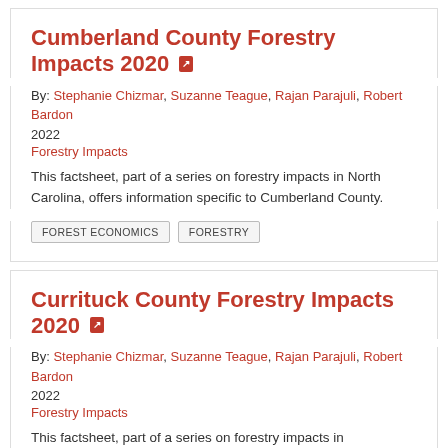Cumberland County Forestry Impacts 2020
By: Stephanie Chizmar, Suzanne Teague, Rajan Parajuli, Robert Bardon
2022
Forestry Impacts
This factsheet, part of a series on forestry impacts in North Carolina, offers information specific to Cumberland County.
FOREST ECONOMICS
FORESTRY
Currituck County Forestry Impacts 2020
By: Stephanie Chizmar, Suzanne Teague, Rajan Parajuli, Robert Bardon
2022
Forestry Impacts
This factsheet, part of a series on forestry impacts in